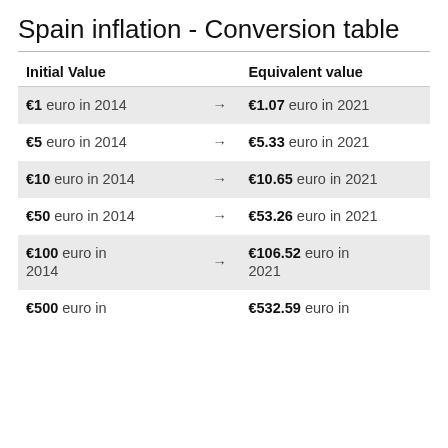Spain inflation - Conversion table
| Initial Value |  | Equivalent value |
| --- | --- | --- |
| €1 euro in 2014 | → | €1.07 euro in 2021 |
| €5 euro in 2014 | → | €5.33 euro in 2021 |
| €10 euro in 2014 | → | €10.65 euro in 2021 |
| €50 euro in 2014 | → | €53.26 euro in 2021 |
| €100 euro in 2014 | → | €106.52 euro in 2021 |
| €500 euro in |  | €532.59 euro in |